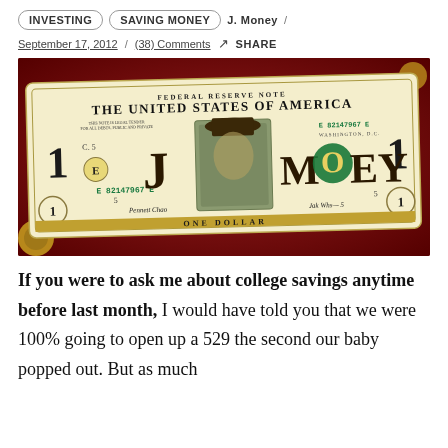INVESTING   SAVING MONEY   J. Money /
September 17, 2012 / (38) Comments   SHARE
[Figure (photo): A customized US one dollar bill on a red background, with 'J MONEY' written on it replacing Washington's portrait area, serial number E82147967E visible.]
If you were to ask me about college savings anytime before last month, I would have told you that we were 100% going to open up a 529 the second our baby popped out. But as much